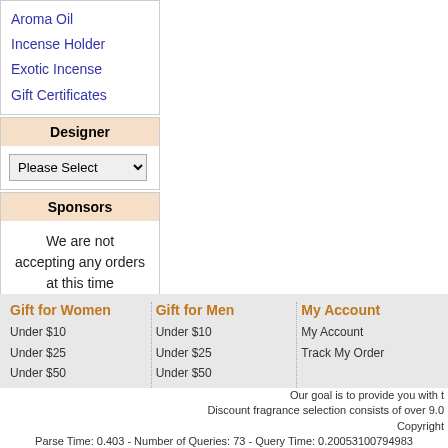Aroma Oil
Incense Holder
Exotic Incense
Gift Certificates
Designer
Please Select
Sponsors
We are not accepting any orders at this time
Gift for Women
Under $10
Under $25
Under $50
Under $75
Gift for Men
Under $10
Under $25
Under $50
Under $75
My Account
My Account
Track My Order
Our goal is to provide you with t Discount fragrance selection consists of over 9.0 Copyright
Parse Time: 0.403 - Number of Queries: 73 - Query Time: 0.20053100794983